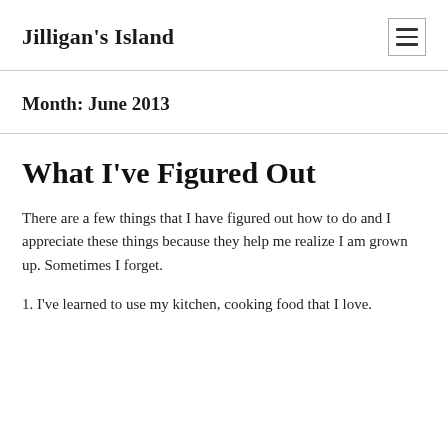Jilligan's Island
Month: June 2013
What I've Figured Out
There are a few things that I have figured out how to do and I appreciate these things because they help me realize I am grown up. Sometimes I forget.
1. I've learned to use my kitchen, cooking food that I love.